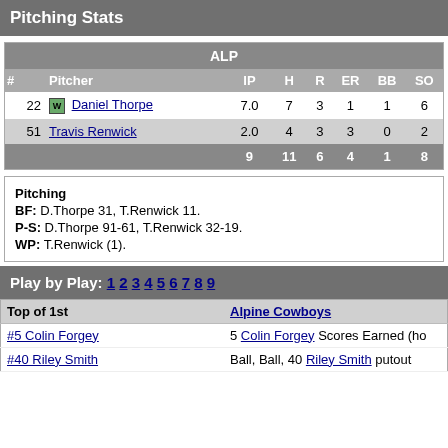Pitching Stats
| # | Pitcher | IP | H | R | ER | BB | SO |
| --- | --- | --- | --- | --- | --- | --- | --- |
| 22 | Daniel Thorpe | 7.0 | 7 | 3 | 1 | 1 | 6 |
| 51 | Travis Renwick | 2.0 | 4 | 3 | 3 | 0 | 2 |
|  |  | 9 | 11 | 6 | 4 | 1 | 8 |
Pitching
BF: D.Thorpe 31, T.Renwick 11.
P-S: D.Thorpe 91-61, T.Renwick 32-19.
WP: T.Renwick (1).
Play by Play: 1 2 3 4 5 6 7 8 9
| Top of 1st | Alpine Cowboys |
| --- | --- |
| #5 Colin Forgey | 5 Colin Forgey Scores Earned (ho |
| #40 Riley Smith | Ball, Ball, 40 Riley Smith putout |